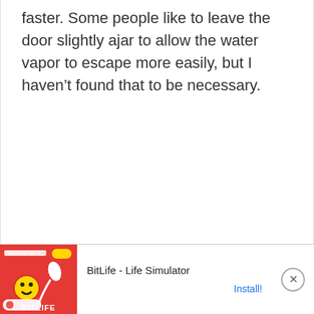faster. Some people like to leave the door slightly ajar to allow the water vapor to escape more easily, but I haven't found that to be necessary.
[Figure (other): Advertisement banner for BitLife - Life Simulator app. Shows a red background with cartoon characters and the BitLife logo, with 'Ad' label, app title 'BitLife - Life Simulator', and an 'Install!' button link. Includes a close (X) button on the right.]